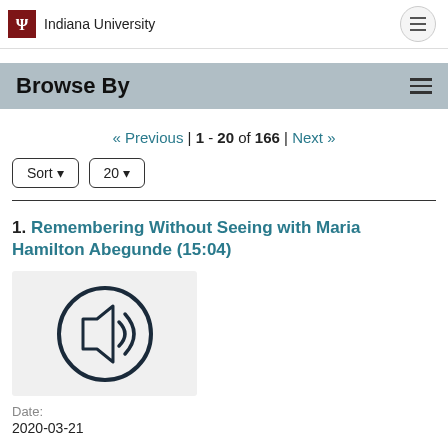Indiana University
Browse By
« Previous | 1 - 20 of 166 | Next »
Sort   20
1. Remembering Without Seeing with Maria Hamilton Abegunde (15:04)
[Figure (illustration): Audio thumbnail icon showing a speaker/sound icon inside a circle on a light gray background]
Date:
2020-03-21